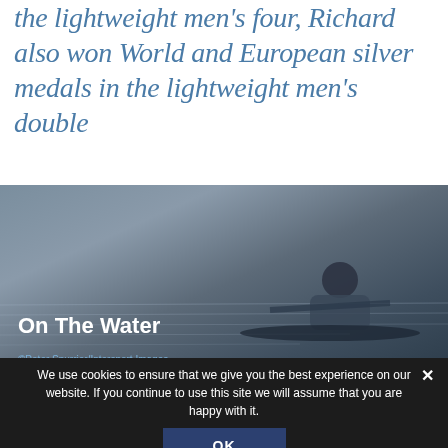the lightweight men's four, Richard also won World and European silver medals in the lightweight men's double
[Figure (photo): A rower on the water, wearing a team jersey, photographed in black and white / muted tones. Text overlay reads 'On The Water'. Photo credit: ©Peter Spurrier/Intersport Images]
We use cookies to ensure that we give you the best experience on our website. If you continue to use this site we will assume that you are happy with it.